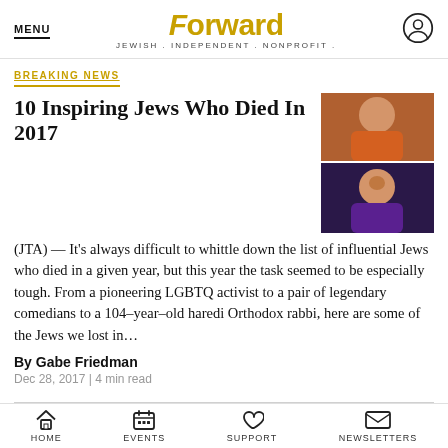MENU | Forward | JEWISH . INDEPENDENT . NONPROFIT .
BREAKING NEWS
10 Inspiring Jews Who Died In 2017
[Figure (photo): Two thumbnail photos: top shows an older person in an orange sweater, bottom shows a smiling woman in purple]
(JTA) — It's always difficult to whittle down the list of influential Jews who died in a given year, but this year the task seemed to be especially tough. From a pioneering LGBTQ activist to a pair of legendary comedians to a 104-year-old haredi Orthodox rabbi, here are some of the Jews we lost in...
By Gabe Friedman
Dec 28, 2017 | 4 min read
THE SCHMOOZE
[Figure (photo): Partial thumbnail image of a person]
HOME | EVENTS | SUPPORT | NEWSLETTERS